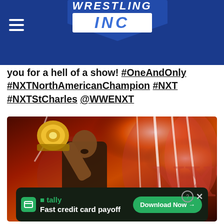Wrestling Inc
you for a hell of a show! #OneAndOnly #NXTNorthAmericanChampion #NXT #NXTStCharles @WWENXT
[Figure (photo): A wrestler holding up a championship belt against a dramatic red and white pyrotechnics background. The wrestler is raising the gold title belt above their head.]
tally Fast credit card payoff Download Now →